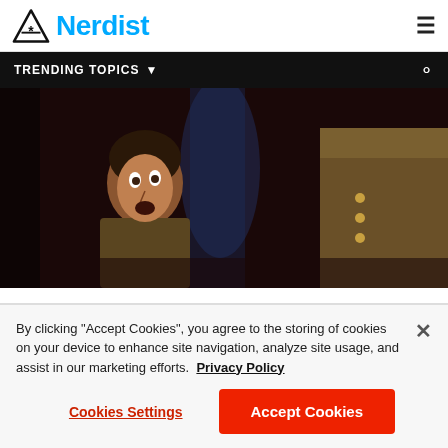[Figure (logo): Nerdist logo with triangle/asterisk icon and blue text]
TRENDING TOPICS
[Figure (photo): Movie still showing a person in military-style costume looking surprised, dark cinematic background]
There's only one moment left on this list, and we saved the best for last. (Luckily, it also comes chronologically.) What's literally the most attractive thing a person can do?
By clicking "Accept Cookies", you agree to the storing of cookies on your device to enhance site navigation, analyze site usage, and assist in our marketing efforts. Privacy Policy
Cookies Settings
Accept Cookies